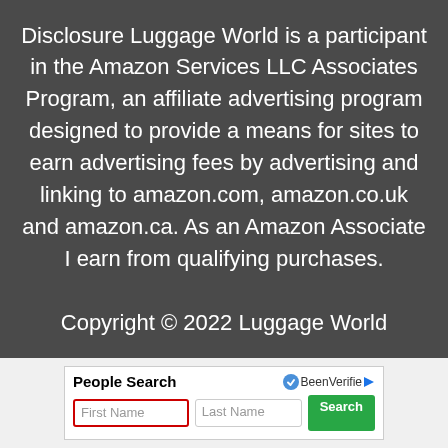Disclosure Luggage World is a participant in the Amazon Services LLC Associates Program, an affiliate advertising program designed to provide a means for sites to earn advertising fees by advertising and linking to amazon.com, amazon.co.uk and amazon.ca. As an Amazon Associate I earn from qualifying purchases. Copyright © 2022 Luggage World
[Figure (screenshot): People Search advertisement widget with 'First Name' (red border) and 'Last Name' input fields and a green Search button, with BeenVerified logo in top right.]